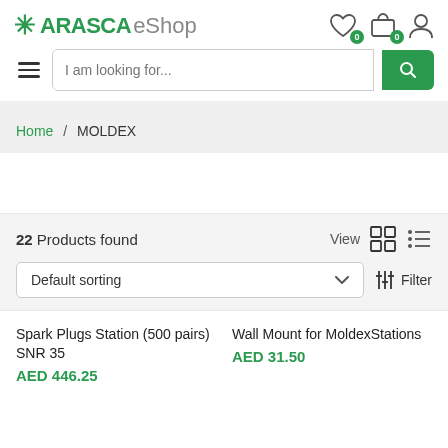ARASCA eShop
I am looking for...
Home / MOLDEX
22 Products found
Default sorting
Filter
Spark Plugs Station (500 pairs) SNR 35
AED 446.25
Wall Mount for MoldexStations
AED 31.50